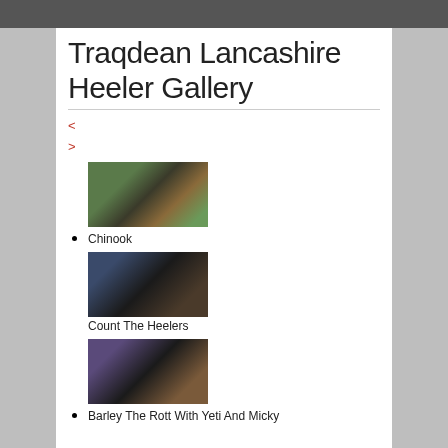Traqdean Lancashire Heeler Gallery
< (navigation previous)
> (navigation next)
[Figure (photo): A black and tan Lancashire Heeler puppy sitting outdoors on gravel near stone steps with greenery in background. Caption: Chinook]
Chinook
[Figure (photo): Multiple black and tan Lancashire Heeler puppies huddled together in a round dog bed on a light floor. Caption: Count The Heelers]
Count The Heelers
[Figure (photo): Black and tan dogs resting on a couch or bed with pink cushion in a room. Caption: Barley The Rott With Yeti And Micky]
Barley The Rott With Yeti And Micky